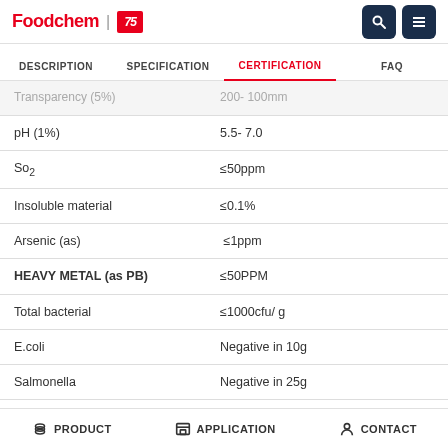Foodchem | [logo]
DESCRIPTION | SPECIFICATION | CERTIFICATION | FAQ
|  |  |
| --- | --- |
| Transparency (5%) | 200- 100mm |
| pH (1%) | 5.5- 7.0 |
| So2 | ≤50ppm |
| Insoluble material | ≤0.1% |
| Arsenic (as) | ≤1ppm |
| HEAVY METAL (as PB) | ≤50PPM |
| Total bacterial | ≤1000cfu/ g |
| E.coli | Negative in 10g |
| Salmonella | Negative in 25g |
| Paticle size | 5- 120 mesh (as per need) |
PRODUCT  APPLICATION  CONTACT